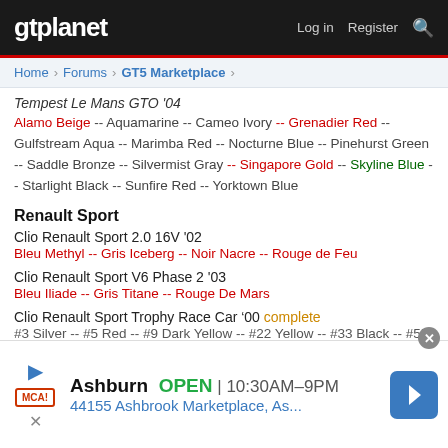gtplanet — Log in  Register
Home > Forums > GT5 Marketplace >
Tempest Le Mans GTO '04
Alamo Beige -- Aquamarine -- Cameo Ivory -- Grenadier Red -- Gulfstream Aqua -- Marimba Red -- Nocturne Blue -- Pinehurst Green -- Saddle Bronze -- Silvermist Gray -- Singapore Gold -- Skyline Blue -- Starlight Black -- Sunfire Red -- Yorktown Blue
Renault Sport
Clio Renault Sport 2.0 16V '02
Bleu Methyl -- Gris Iceberg -- Noir Nacre -- Rouge de Feu
Clio Renault Sport V6 Phase 2 '03
Bleu Iliade -- Gris Titane -- Rouge De Mars
Clio Renault Sport Trophy Race Car &#8216;00 complete
#3 Silver -- #5 Red -- #9 Dark Yellow -- #22 Yellow -- #33 Black -- #55 Blue -- #66 White -- #99 Pink
[Figure (screenshot): Advertisement bar: Ashburn OPEN 10:30AM-9PM, 44155 Ashbrook Marketplace, As... with MCA logo and navigation arrow icon]